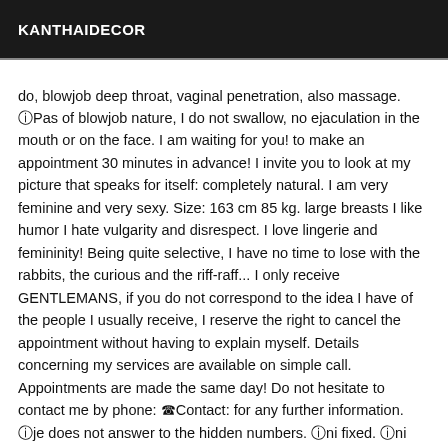KANTHAIDECOR
do, blowjob deep throat, vaginal penetration, also massage. ⓘPas of blowjob nature, I do not swallow, no ejaculation in the mouth or on the face. I am waiting for you! to make an appointment 30 minutes in advance! I invite you to look at my picture that speaks for itself: completely natural. I am very feminine and very sexy. Size: 163 cm 85 kg. large breasts I like humor I hate vulgarity and disrespect. I love lingerie and femininity! Being quite selective, I have no time to lose with the rabbits, the curious and the riff-raff... I only receive GENTLEMANS, if you do not correspond to the idea I have of the people I usually receive, I reserve the right to cancel the appointment without having to explain myself. Details concerning my services are available on simple call. Appointments are made the same day! Do not hesitate to contact me by phone: ☎Contact: for any further information. ⓘje does not answer to the hidden numbers. ⓘni fixed. ⓘni from Massages Thank you for